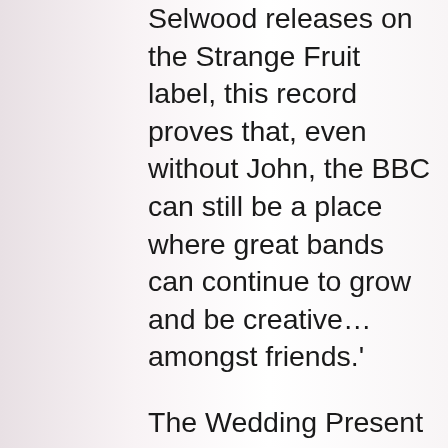Selwood releases on the Strange Fruit label, this record proves that, even without John, the BBC can still be a place where great bands can continue to grow and be creative… amongst friends.'
The Wedding Present is one of the UK's best-loved indie bands with eighteen UK Top 40 hit singles to their name. Formed in Leeds in 1985, the band is currently celebrating the